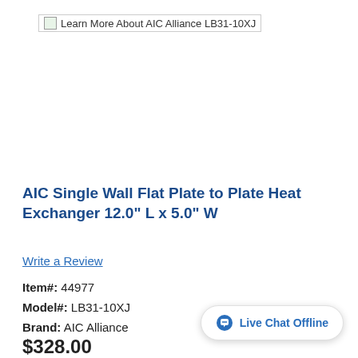[Figure (screenshot): Broken image placeholder with text: Learn More About AIC Alliance LB31-10XJ]
AIC Single Wall Flat Plate to Plate Heat Exchanger 12.0" L x 5.0" W
Write a Review
Item#: 44977
Model#: LB31-10XJ
Brand: AIC Alliance
$328.00